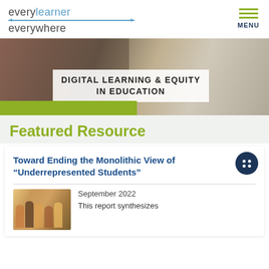[Figure (logo): Every Learner Everywhere logo with teal/blue text and horizontal arrow line]
[Figure (infographic): Navigation menu icon with three olive/green horizontal lines and MENU label]
[Figure (photo): Hero banner photo of students with text overlay: DIGITAL LEARNING & EQUITY IN EDUCATION, with green bar accent]
Featured Resource
[Figure (illustration): Dark blue circular icon with two columns of dots (Gemini/Ithaka symbol)]
Toward Ending the Monolithic View of “Underrepresented Students”
[Figure (photo): Thumbnail photo of diverse group of students sitting together]
September 2022
This report synthesizes